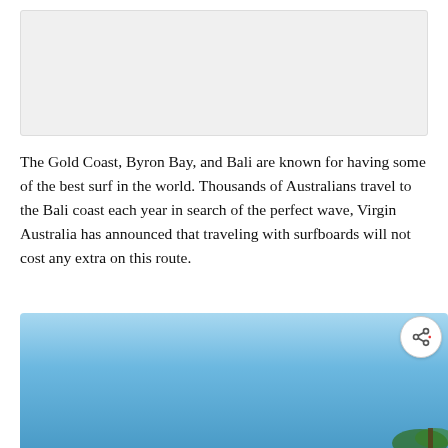[Figure (photo): Top image placeholder — partially visible photo, appears light/grey (cropped web article image)]
The Gold Coast, Byron Bay, and Bali are known for having some of the best surf in the world. Thousands of Australians travel to the Bali coast each year in search of the perfect wave, Virgin Australia has announced that traveling with surfboards will not cost any extra on this route.
[Figure (photo): Partial photo of a tropical blue sky with palm trees visible at bottom right corner. Red heart/like button, count of 319, and share button overlaid on the right side.]